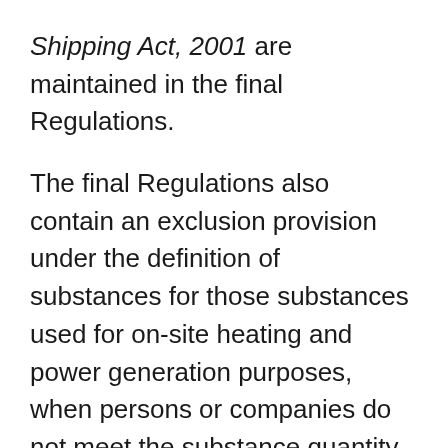Shipping Act, 2001 are maintained in the final Regulations.
The final Regulations also contain an exclusion provision under the definition of substances for those substances used for on-site heating and power generation purposes, when persons or companies do not meet the substance quantity thresholds in Schedule 1. Examples of these substances are fuel oil, No. 2, which is often used as home heating fuel, and diesel fuel. Lastly, the final Regulations provide improved clarity with respect to the